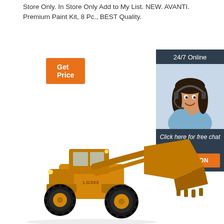Store Only. In Store Only Add to My List. NEW. AVANTI. Premium Paint Kit, 8 Pc., BEST Quality.
[Figure (other): Orange 'Get Price' button]
[Figure (other): 24/7 Online customer service representative with headset, smiling, alongside 'Click here for free chat!' text and orange QUOTATION button on dark navy sidebar]
[Figure (photo): Large yellow/orange construction wheel loader (front-end loader) with bucket raised, LG-series model, on white background]